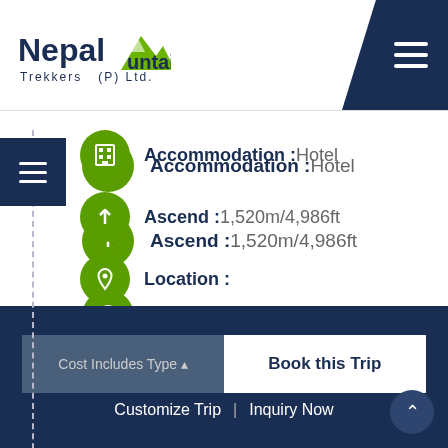[Figure (logo): Nepal Mountain Trekkers (P) Ltd. logo with mountain graphic in green and dark navy text]
Accommodation : Hotel
Ascend : 1,520m/4,986ft
Location :
» Birtamode
» Ilam
» Fidim
» Taplejung
Cost Includes Type ♦   Book this Trip   Customize Trip | Inquiry Now